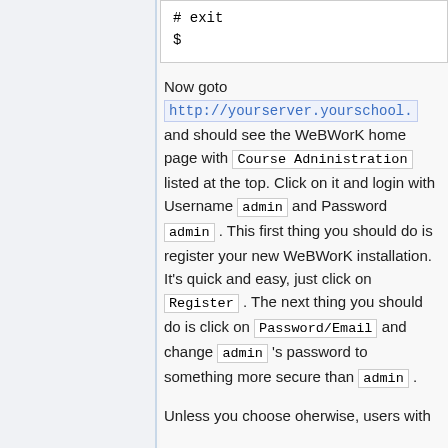# exit
$
Now goto http://yourserver.yourschool. and should see the WeBWorK home page with Course Adninistration listed at the top. Click on it and login with Username admin and Password admin . This first thing you should do is register your new WeBWorK installation. It's quick and easy, just click on Register . The next thing you should do is click on Password/Email and change admin 's password to something more secure than admin .
Unless you choose oherwise, users with